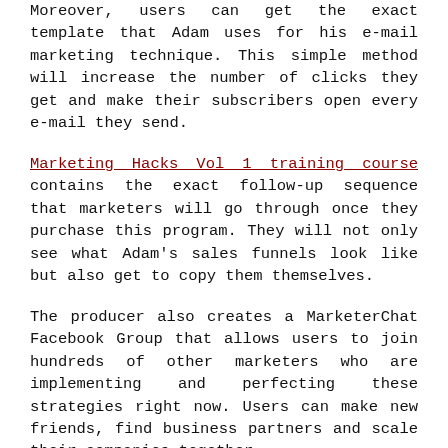Moreover, users can get the exact template that Adam uses for his e-mail marketing technique. This simple method will increase the number of clicks they get and make their subscribers open every e-mail they send.
Marketing Hacks Vol 1 training course contains the exact follow-up sequence that marketers will go through once they purchase this program. They will not only see what Adam's sales funnels look like but also get to copy them themselves.
The producer also creates a MarketerChat Facebook Group that allows users to join hundreds of other marketers who are implementing and perfecting these strategies right now. Users can make new friends, find business partners and scale their companies together.
According to the creator, these campaigns are designed to work best for e-commerce marketers, info product sellers, coaches, and even retail stores. In another word,